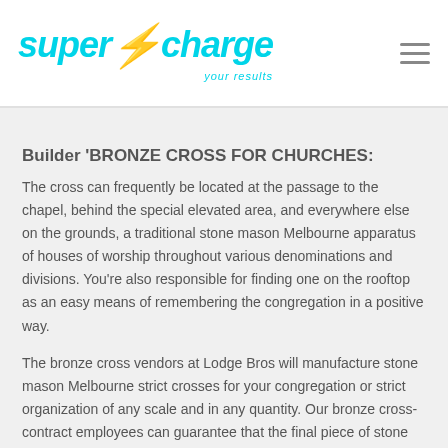supercharge your results
Builder 'BRONZE CROSS FOR CHURCHES:
The cross can frequently be located at the passage to the chapel, behind the special elevated area, and everywhere else on the grounds, a traditional stone mason Melbourne apparatus of houses of worship throughout various denominations and divisions. You're also responsible for finding one on the rooftop as an easy means of remembering the congregation in a positive way.
The bronze cross vendors at Lodge Bros will manufacture stone mason Melbourne strict crosses for your congregation or strict organization of any scale and in any quantity. Our bronze cross-contract employees can guarantee that the final piece of stone